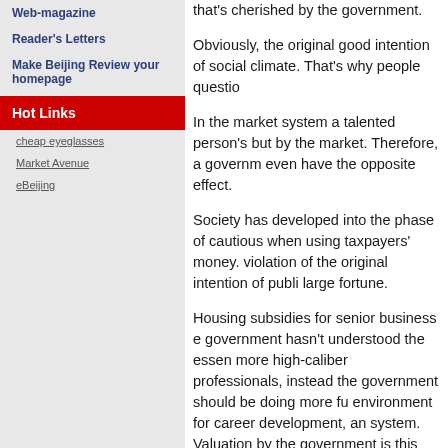Web-magazine
Reader's Letters
Make Beijing Review your homepage
Hot Links
cheap eyeglasses
Market Avenue
eBeijing
that's cherished by the government.
Obviously, the original good intention of social climate. That's why people questio
In the market system a talented person's but by the market. Therefore, a governm even have the opposite effect.
Society has developed into the phase of cautious when using taxpayers' money. violation of the original intention of publi large fortune.
Housing subsidies for senior business e government hasn't understood the essen more high-caliber professionals, instead the government should be doing more fu environment for career development, an system. Valuation by the government is this way, not only will the government be as Ma won't feel at ease when receiving